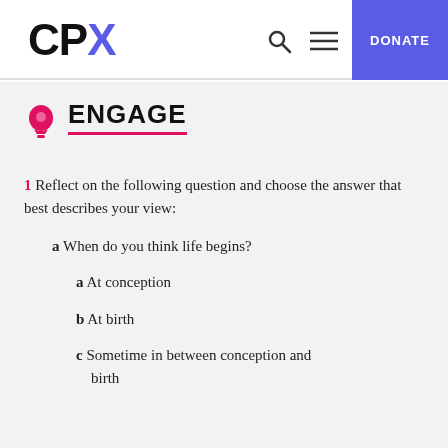CPX — DONATE
ENGAGE
1 Reflect on the following question and choose the answer that best describes your view:
a When do you think life begins?
a At conception
b At birth
c Sometime in between conception and birth